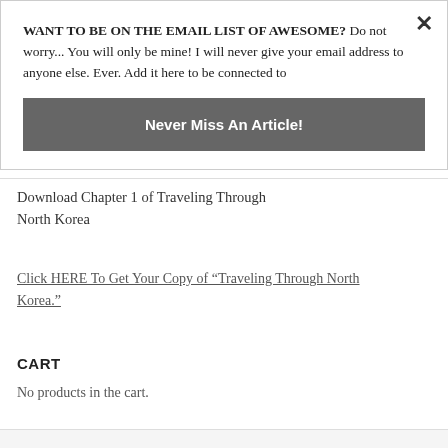WANT TO BE ON THE EMAIL LIST OF AWESOME? Do not worry... You will only be mine! I will never give your email address to anyone else. Ever. Add it here to be connected to
Never Miss An Article!
Download Chapter 1 of Traveling Through North Korea
Click HERE To Get Your Copy of “Traveling Through North Korea.”
CART
No products in the cart.